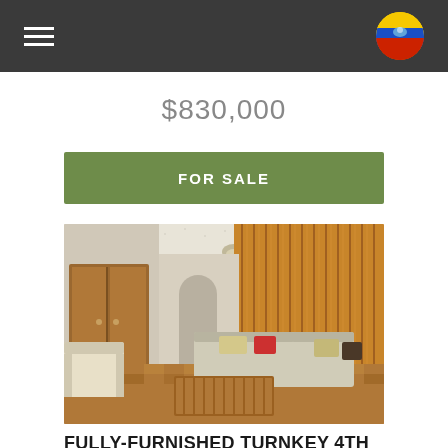Menu | Logo
$830,000
FOR SALE
[Figure (photo): Interior photo of a furnished living room with wood-paneled walls, parquet floor, sectional sofa with striped upholstery and colorful pillows, wooden armchair, and a wooden coffee table. Ceiling is textured white with a ceiling light.]
FULLY-FURNISHED TURNKEY 4TH FLOOR WALK-UP IN THE HEART